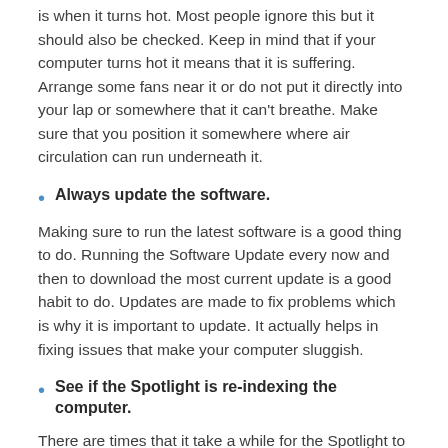is when it turns hot. Most people ignore this but it should also be checked. Keep in mind that if your computer turns hot it means that it is suffering. Arrange some fans near it or do not put it directly into your lap or somewhere that it can't breathe. Make sure that you position it somewhere where air circulation can run underneath it.
Always update the software.
Making sure to run the latest software is a good thing to do. Running the Software Update every now and then to download the most current update is a good habit to do. Updates are made to fix problems which is why it is important to update. It actually helps in fixing issues that make your computer sluggish.
See if the Spotlight is re-indexing the computer.
There are times that it take a while for the Spotlight to rebuild the index of all the files. This happens when you've just applied a software update. It can be one of the reasons why your computer seems to be performing slowly. Just